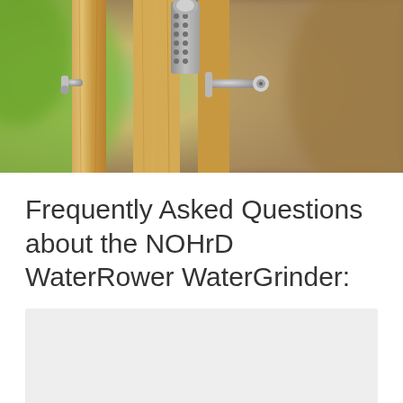[Figure (photo): Close-up photo of a wooden door (light oak) with a modern digital lock mechanism and two silver door handles/levers. The background shows blurred green and brown tones.]
Frequently Asked Questions about the NOHrD WaterRower WaterGrinder: